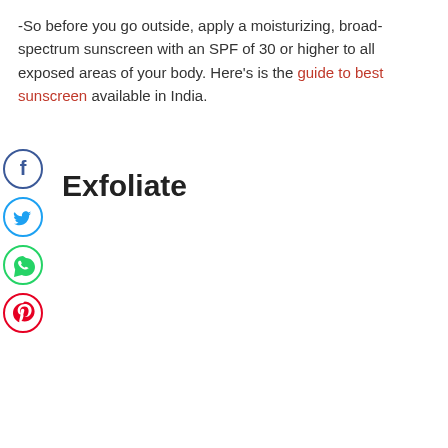-So before you go outside, apply a moisturizing, broad-spectrum sunscreen with an SPF of 30 or higher to all exposed areas of your body. Here's is the guide to best sunscreen available in India.
[Figure (infographic): Social share buttons: Facebook (blue circle with f), Twitter (blue circle with bird), WhatsApp (green circle with phone), Pinterest (red circle with P)]
Exfoliate